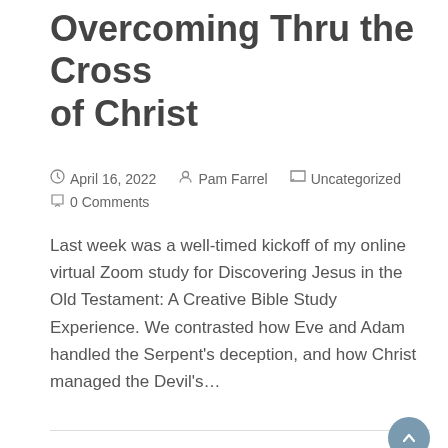Overcoming Thru the Cross of Christ
April 16, 2022   Pam Farrel   Uncategorized   0 Comments
Last week was a well-timed kickoff of my online virtual Zoom study for Discovering Jesus in the Old Testament: A Creative Bible Study Experience. We contrasted how Eve and Adam handled the Serpent's deception, and how Christ managed the Devil's...
Read more
Your Watershed Moment